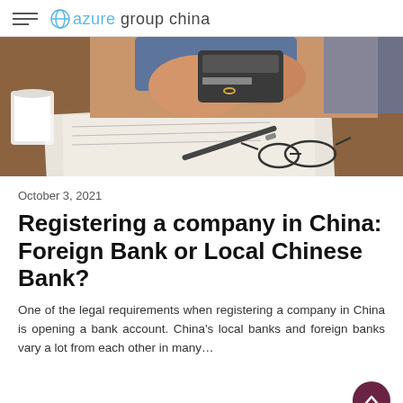azure group china
[Figure (photo): Close-up photo of hands holding a credit card over a desk with papers, a pen, and glasses. A white coffee cup is visible on the left. Person is wearing a blue shirt.]
October 3, 2021
Registering a company in China: Foreign Bank or Local Chinese Bank?
One of the legal requirements when registering a company in China is opening a bank account. China’s local banks and foreign banks vary a lot from each other in many…